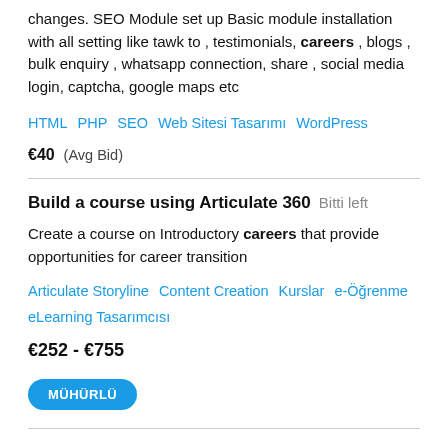changes. SEO Module set up Basic module installation with all setting like tawk to , testimonials, careers , blogs , bulk enquiry , whatsapp connection, share , social media login, captcha, google maps etc
HTML   PHP   SEO   Web Sitesi Tasarımı   WordPress
€40  (Avg Bid)
Build a course using Articulate 360  Bitti left
Create a course on Introductory careers that provide opportunities for career transition
Articulate Storyline   Content Creation   Kurslar   e-Öğrenme   eLearning Tasarımcısı
€252 - €755
MÜHÜRLÜ